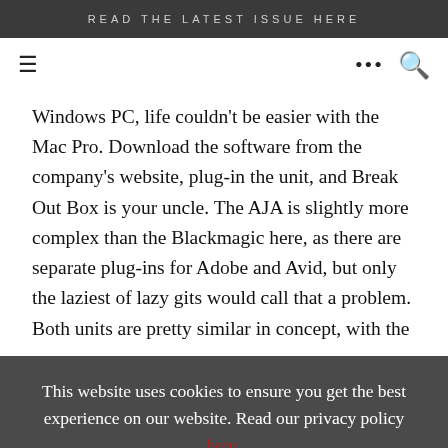READ THE LATEST ISSUE HERE
Windows PC, life couldn't be easier with the Mac Pro. Download the software from the company's website, plug-in the unit, and Break Out Box is your uncle. The AJA is slightly more complex than the Blackmagic here, as there are separate plug-ins for Adobe and Avid, but only the laziest of lazy gits would call that a problem. Both units are pretty similar in concept, with the
This website uses cookies to ensure you get the best experience on our website. Read our privacy policy here.
Got it!